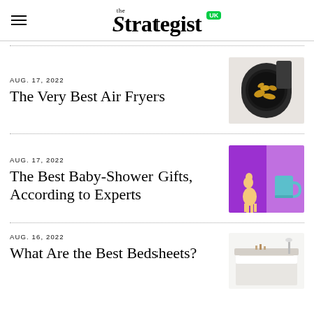the Strategist UK
AUG. 17, 2022
The Very Best Air Fryers
[Figure (photo): Air fryer with food inside, black appliance on white background]
AUG. 17, 2022
The Best Baby-Shower Gifts, According to Experts
[Figure (photo): Purple background with Sophie the Giraffe toy and a teal mug]
AUG. 16, 2022
What Are the Best Bedsheets?
[Figure (photo): White bedroom with bed and lamp, minimalist style]